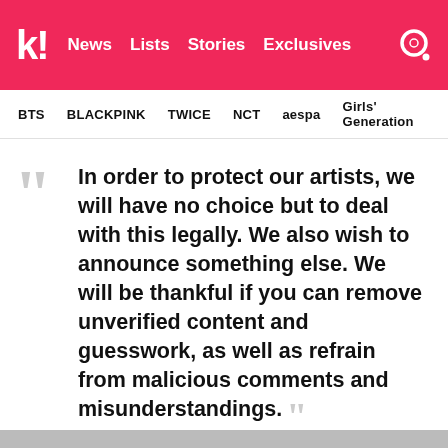k! News Lists Stories Exclusives
BTS  BLACKPINK  TWICE  NCT  aespa  Girls' Generation
In order to protect our artists, we will have no choice but to deal with this legally. We also wish to announce something else. We will be thankful if you can remove unverified content and guesswork, as well as refrain from malicious comments and misunderstandings.
– WKS ENE Entertainement